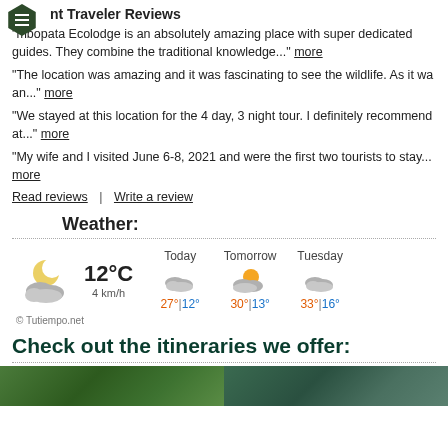nt Traveler Reviews
"Tambopata Ecolodge is an absolutely amazing place with super dedicated guides. They combine the traditional knowledge..." more
"The location was amazing and it was fascinating to see the wildlife. As it wa an..." more
"We stayed at this location for the 4 day, 3 night tour. I definitely recommend at..." more
"My wife and I visited June 6-8, 2021 and were the first two tourists to stay... more
Read reviews | Write a review
Weather:
[Figure (infographic): Weather widget showing current temperature 12°C, wind 4 km/h, partly cloudy night icon. Forecast: Today 27°|12°, Tomorrow 30°|13°, Tuesday 33°|16°. Credit: Tutiempo.net]
Check out the itineraries we offer:
[Figure (photo): Two thumbnail photos at bottom of page showing green jungle/nature scenes]